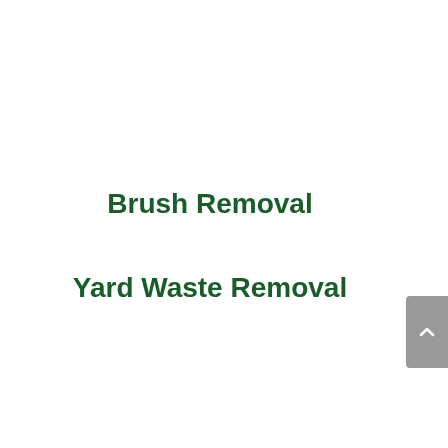Brush Removal
Yard Waste Removal